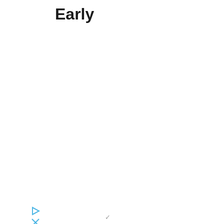Early
[Figure (infographic): CVS Pharmacy advertisement box with logo, checkmarks for In-store shopping, Drive-through, and Delivery, plus a blue navigation diamond icon]
[Figure (other): Small play triangle and X icons in light blue at bottom left]